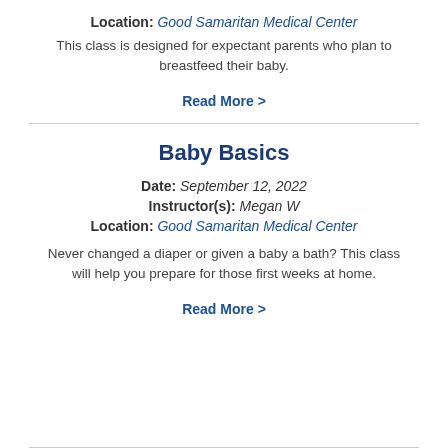Location: Good Samaritan Medical Center
This class is designed for expectant parents who plan to breastfeed their baby.
Read More >
Baby Basics
Date: September 12, 2022
Instructor(s): Megan W
Location: Good Samaritan Medical Center
Never changed a diaper or given a baby a bath? This class will help you prepare for those first weeks at home.
Read More >